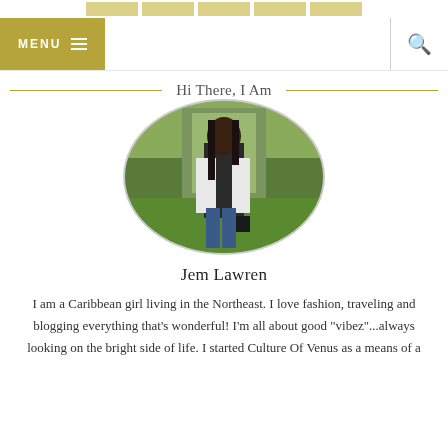MENU
Hi There, I Am
[Figure (photo): Oval portrait photo of Jem Lawren, a young woman with long black hair wearing a black top, plaid jacket, jeans, and a belt, standing in a garden with an arched trellis background.]
Jem Lawren
I am a Caribbean girl living in the Northeast. I love fashion, traveling and blogging everything that's wonderful! I'm all about good "vibez"...always looking on the bright side of life. I started Culture Of Venus as a means of a